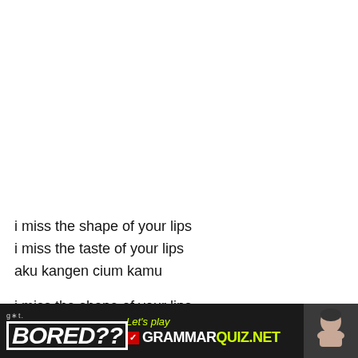i miss the shape of your lips
i miss the taste of your lips
aku kangen cium kamu

i miss the shape of your lips
i miss the taste of your lips
aku kangen aku rindu
[Figure (infographic): Black footer banner with 'Got BORED??' logo on left in white bold italic text with border, center shows 'Let's play' in yellow-green italic text and 'GRAMMARQUIZ.NET' in white bold uppercase with red checkbox, right side shows photo of a person resting chin on hands]